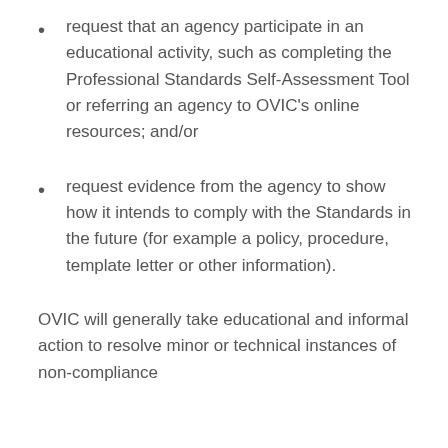request that an agency participate in an educational activity, such as completing the Professional Standards Self-Assessment Tool or referring an agency to OVIC’s online resources; and/or
request evidence from the agency to show how it intends to comply with the Standards in the future (for example a policy, procedure, template letter or other information).
OVIC will generally take educational and informal action to resolve minor or technical instances of non-compliance